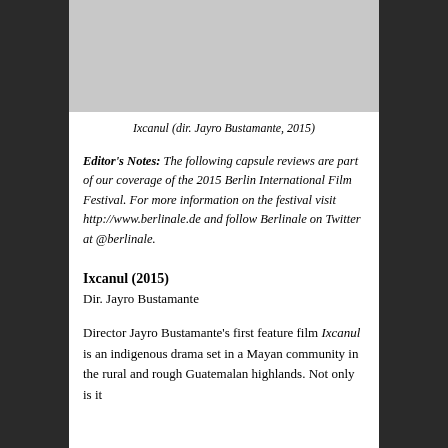[Figure (photo): Gray placeholder image for Ixcanul film still]
Ixcanul (dir. Jayro Bustamante, 2015)
Editor's Notes: The following capsule reviews are part of our coverage of the 2015 Berlin International Film Festival. For more information on the festival visit http://www.berlinale.de and follow Berlinale on Twitter at @berlinale.
Ixcanul (2015)
Dir. Jayro Bustamante
Director Jayro Bustamante's first feature film Ixcanul is an indigenous drama set in a Mayan community in the rural and rough Guatemalan highlands. Not only is it